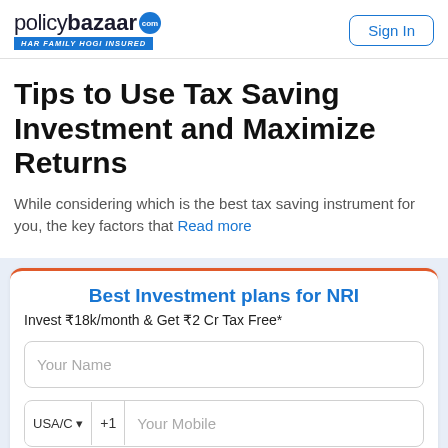policybazaar HAR FAMILY HOGI INSURED | Sign In
Tips to Use Tax Saving Investment and Maximize Returns
While considering which is the best tax saving instrument for you, the key factors that Read more
Best Investment plans for NRI
Invest ₹18k/month & Get ₹2 Cr Tax Free*
Your Name
USA/C ▾ | +1 Your Mobile